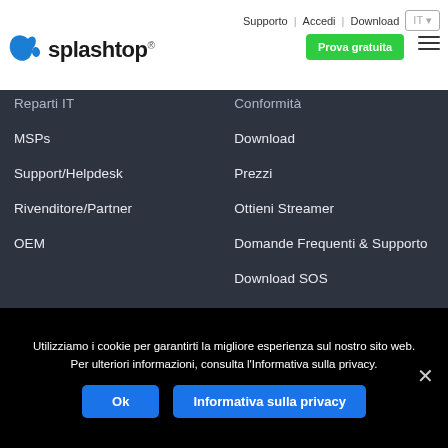Supporto | Accedi | Download IT
[Figure (logo): Splashtop logo with blue splash icon and bold text 'splashtop']
Reparti IT
Conformità
MSPs
Download
Support/Helpdesk
Prezzi
Rivenditore/Partner
Ottieni Streamer
OEM
Domande Frequenti & Supporto
Download SOS
Stato del sistema
Divulgazione di vulnerabilità
Utilizziamo i cookie per garantirti la migliore esperienza sul nostro sito web. Per ulteriori informazioni, consulta l'Informativa sulla privacy.
Ok    Informativa sulla privacy